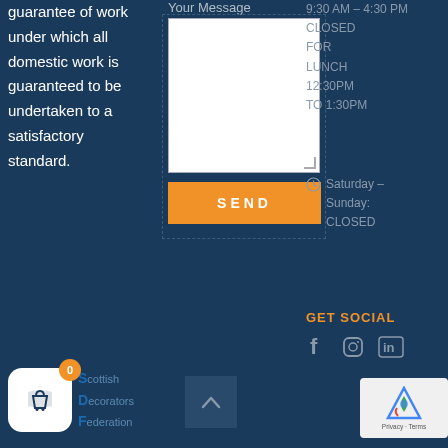guarantee of work under which all domestic work is guaranteed to be undertaken to a satisfactory standard.
Your Message
SEND
9:30 AM – 4:30 PM CLOSED FOR LUNCH 12:30PM TO 1:30PM
Saturday – Sunday: CLOSED
GET SOCIAL
[Figure (logo): Scottish Decorators Federation logo with basket icon]
[Figure (other): reCAPTCHA privacy badge]